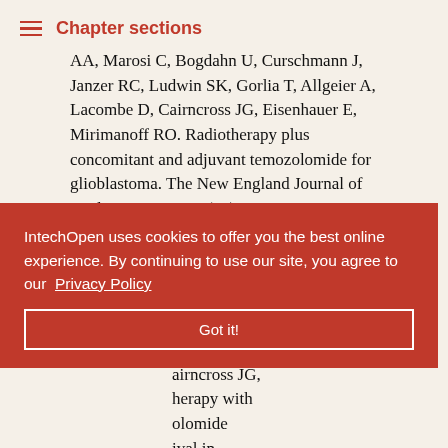Chapter sections
AA, Marosi C, Bogdahn U, Curschmann J, Janzer RC, Ludwin SK, Gorlia T, Allgeier A, Lacombe D, Cairncross JG, Eisenhauer E, Mirimanoff RO. Radiotherapy plus concomitant and adjuvant temozolomide for glioblastoma. The New England Journal of Medicine 2005; 352(10):987-96.
220. Stupp R, Hegi ME, Mason WP, van den Bent MJ, Taphoorn MJ, Janzer RC, Ludwin SK, Allgeier A, Fisher B, Belanger K, Hau P, ... C, Vecht CJ, ... Eisenhauer E, ... airncross JG, ... herapy with ... olomide ... ival in ... ase III study:
IntechOpen uses cookies to offer you the best online experience. By continuing to use our site, you agree to our Privacy Policy
Got it!